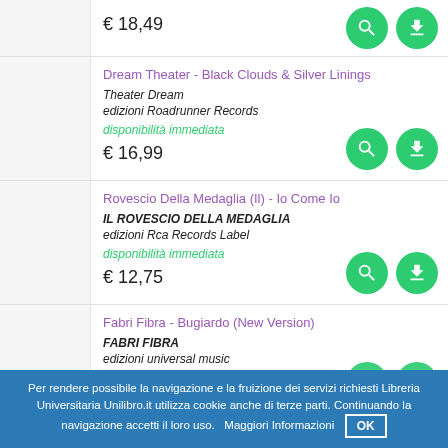€ 18,49
Dream Theater - Black Clouds & Silver Linings | Theater Dream | edizioni Roadrunner Records | disponibilità immediata | € 16,99
Rovescio Della Medaglia (Il) - Io Come Io | IL ROVESCIO DELLA MEDAGLIA | edizioni Rca Records Label | disponibilità immediata | € 12,75
Fabri Fibra - Bugiardo (New Version) | FABRI FIBRA | edizioni universal music | disponibilità immediata
Per rendere possibile la navigazione e la fruizione dei servizi richiesti Libreria Universitaria Unilibro.it utilizza cookie anche di terze parti. Continuando la navigazione accetti il loro uso.   Maggiori Informazioni   OK